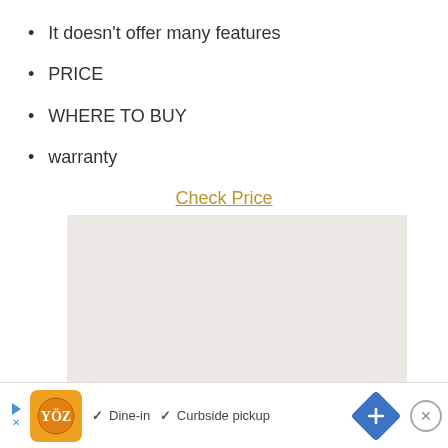It doesn't offer many features
PRICE
WHERE TO BUY
warranty
Check Price
[Figure (other): Blank light gray rectangular placeholder image]
[Figure (other): Advertisement bar at bottom: logo icon, checkmarks for Dine-in and Curbside pickup, map/navigation icon, and close button]